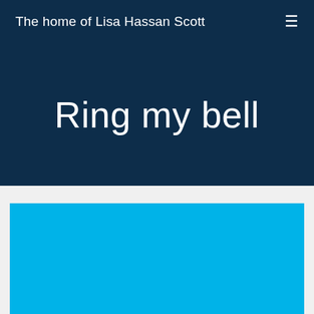The home of Lisa Hassan Scott
Ring my bell
[Figure (other): Light blue rectangular image block, partially cropped at the bottom of the page]